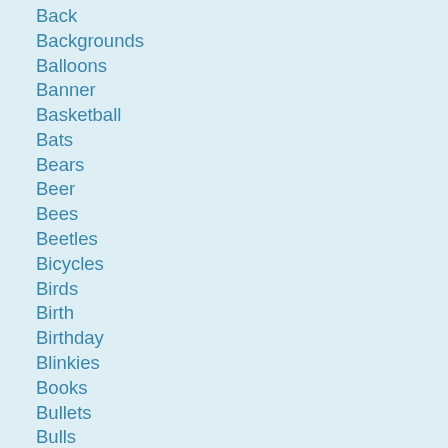Back
Backgrounds
Balloons
Banner
Basketball
Bats
Bears
Beer
Bees
Beetles
Bicycles
Birds
Birth
Birthday
Blinkies
Books
Bullets
Bulls
Butterflies
Buttons